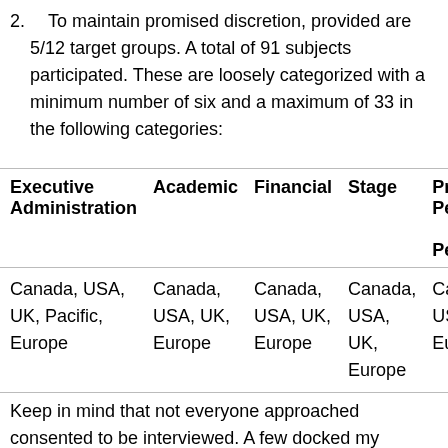2. To maintain promised discretion, provided are 5/12 target groups. A total of 91 subjects participated. These are loosely categorized with a minimum number of six and a maximum of 33 in the following categories:
| Executive Administration | Academic | Financial | Stage | Pro- Per- Per- |
| --- | --- | --- | --- | --- |
| Canada, USA, UK, Pacific, Europe | Canada, USA, UK, Europe | Canada, USA, UK, Europe | Canada, USA, UK, Europe | Ca- US- Eur- |
Keep in mind that not everyone approached consented to be interviewed. A few docked my repeated inquiries all